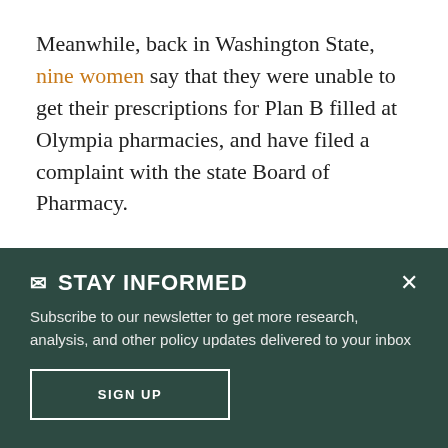Meanwhile, back in Washington State, nine women say that they were unable to get their prescriptions for Plan B filled at Olympia pharmacies, and have filed a complaint with the state Board of Pharmacy.
An Albertons Sav-On spokesperson said that they just don't stock it. "However, we will
✉ STAY INFORMED
Subscribe to our newsletter to get more research, analysis, and other policy updates delivered to your inbox
SIGN UP